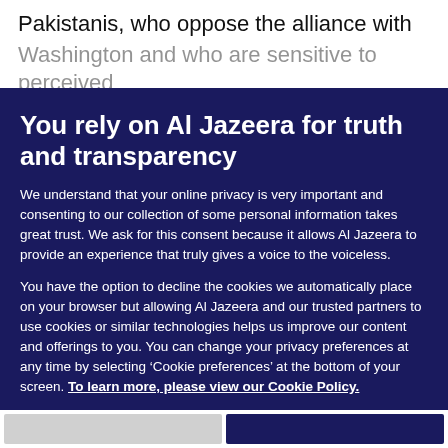Pakistanis, who oppose the alliance with
Washington and who are sensitive to perceived
You rely on Al Jazeera for truth and transparency
We understand that your online privacy is very important and consenting to our collection of some personal information takes great trust. We ask for this consent because it allows Al Jazeera to provide an experience that truly gives a voice to the voiceless.
You have the option to decline the cookies we automatically place on your browser but allowing Al Jazeera and our trusted partners to use cookies or similar technologies helps us improve our content and offerings to you. You can change your privacy preferences at any time by selecting ‘Cookie preferences’ at the bottom of your screen. To learn more, please view our Cookie Policy.